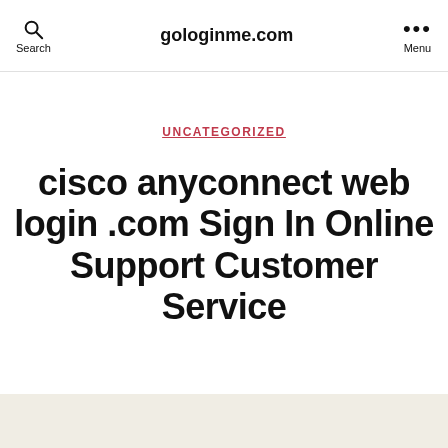gologinme.com
UNCATEGORIZED
cisco anyconnect web login .com Sign In Online Support Customer Service
By  2021-12-23  No Comments